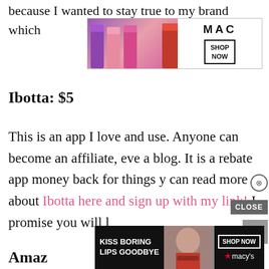because I wanted to stay true to my brand which
[Figure (infographic): MAC cosmetics advertisement banner showing lipsticks in purple, pink, and red colors with MAC logo and SHOP NOW button]
Ibotta: $5
This is an app I love and use. Anyone can become an affiliate, even without a blog. It is a rebate app that gives you money back for things you buy. You can read more about Ibotta here and sign up with my link! I promise you will love it.
[Figure (screenshot): Black video popup overlay covering part of the text]
[Figure (infographic): Macy's advertisement banner: KISS BORING LIPS GOODBYE with SHOP NOW button and Macy's star logo]
Amaz